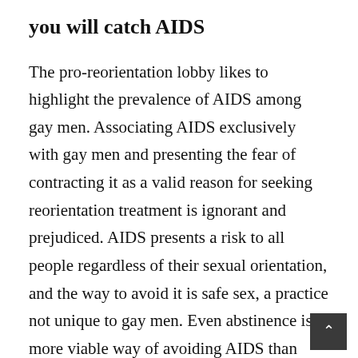you will catch AIDS
The pro-reorientation lobby likes to highlight the prevalence of AIDS among gay men. Associating AIDS exclusively with gay men and presenting the fear of contracting it as a valid reason for seeking reorientation treatment is ignorant and prejudiced. AIDS presents a risk to all people regardless of their sexual orientation, and the way to avoid it is safe sex, a practice not unique to gay men. Even abstinence is a more viable way of avoiding AIDS than reorientation. Since reorientation has not been proven to be effective, this will be discussed in more detail